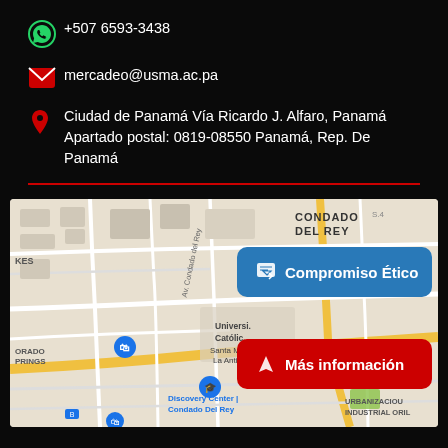+507 6593-3438
mercadeo@usma.ac.pa
Ciudad de Panamá Vía Ricardo J. Alfaro, Panamá Apartado postal: 0819-08550 Panamá, Rep. De Panamá
[Figure (map): Google Maps view showing Universidad Católica Santa María La Antigua area in Panama City, with Condado Del Rey neighborhood, Discovery Center Condado Del Rey label, and Urbanización Industrial Oril visible. Two overlay buttons: blue 'Compromiso Ético' and red 'Más información'.]